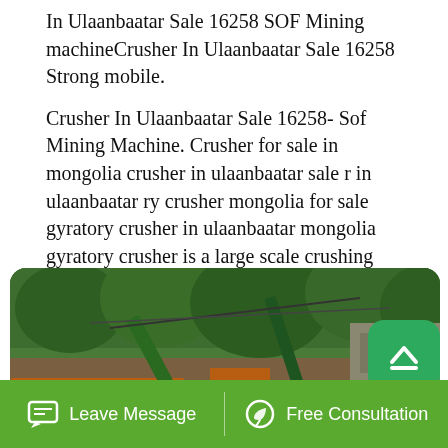In Ulaanbaatar Sale 16258 SOF Mining machineCrusher In Ulaanbaatar Sale 16258 Strong mobile.
Crusher In Ulaanbaatar Sale 16258- Sof Mining Machine. Crusher for sale in mongolia crusher in ulaanbaatar sale r in ulaanbaatar ry crusher mongolia for sale gyratory crusher in ulaanbaatar mongolia gyratory crusher is a large scale crushing machine used for primary crushing of various ores or rocks ulaanbaatar chat with sales gyrat
[Figure (photo): Photo of industrial mining crusher machinery with orange-colored equipment, conveyor belts, and green forested background.]
Leave Message    Free Consultation